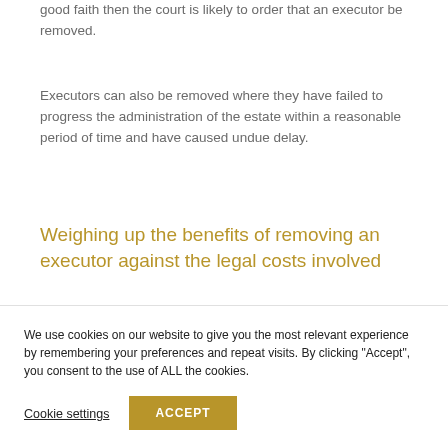good faith then the court is likely to order that an executor be removed.
Executors can also be removed where they have failed to progress the administration of the estate within a reasonable period of time and have caused undue delay.
Weighing up the benefits of removing an executor against the legal costs involved
...
We use cookies on our website to give you the most relevant experience by remembering your preferences and repeat visits. By clicking “Accept”, you consent to the use of ALL the cookies.
Cookie settings
ACCEPT